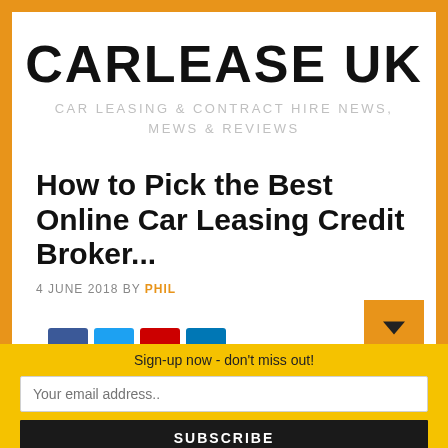CARLEASE UK
CAR LEASING & CONTRACT HIRE NEWS, MEWS & REVIEWS
How to Pick the Best Online Car Leasing Credit Broker...
4 JUNE 2018 BY PHIL
Sign-up now - don't miss out!
Your email address..
SUBSCRIBE